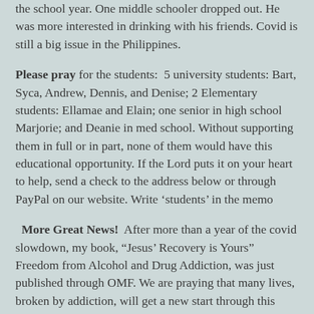the school year. One middle schooler dropped out. He was more interested in drinking with his friends. Covid is still a big issue in the Philippines.
Please pray for the students: 5 university students: Bart, Syca, Andrew, Dennis, and Denise; 2 Elementary students: Ellamae and Elain; one senior in high school Marjorie; and Deanie in med school. Without supporting them in full or in part, none of them would have this educational opportunity. If the Lord puts it on your heart to help, send a check to the address below or through PayPal on our website. Write ‘students’ in the memo
More Great News! After more than a year of the covid slowdown, my book, “Jesus’ Recovery is Yours” Freedom from Alcohol and Drug Addiction, was just published through OMF. We are praying that many lives, broken by addiction, will get a new start through this book. The most excited news to me is the Filipino